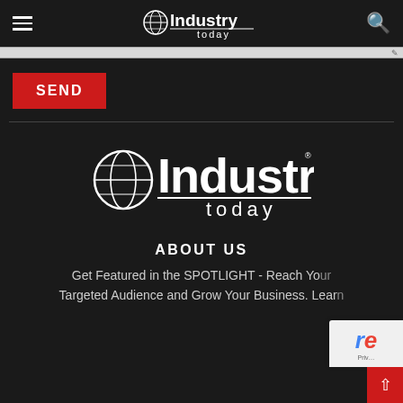Industry Today — site header with hamburger menu, logo, and search icon
[Figure (logo): Horizontal gray ad bar with pencil/edit icon at right]
[Figure (other): Red SEND button]
[Figure (logo): Industry Today large logo centered on dark background with globe icon]
ABOUT US
Get Featured in the SPOTLIGHT - Reach Your Targeted Audience and Grow Your Business. Lear…